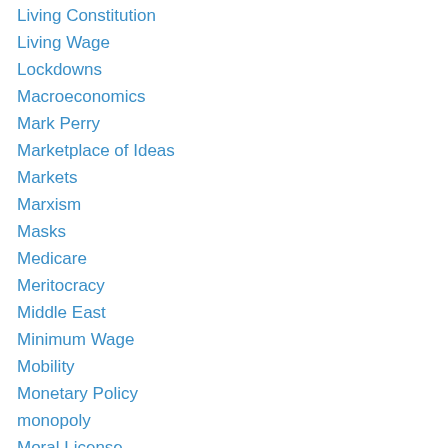Living Constitution
Living Wage
Lockdowns
Macroeconomics
Mark Perry
Marketplace of Ideas
Markets
Marxism
Masks
Medicare
Meritocracy
Middle East
Minimum Wage
Mobility
Monetary Policy
monopoly
Moral License
Multiculturalism
National Debt
National Security